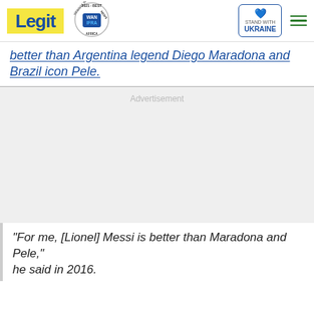Legit | WAN IFRA 2021 Best News Website in Africa | Stand with Ukraine
better than Argentina legend Diego Maradona and Brazil icon Pele.
[Figure (other): Advertisement placeholder area with light gray background]
"For me, [Lionel] Messi is better than Maradona and Pele," he said in 2016.